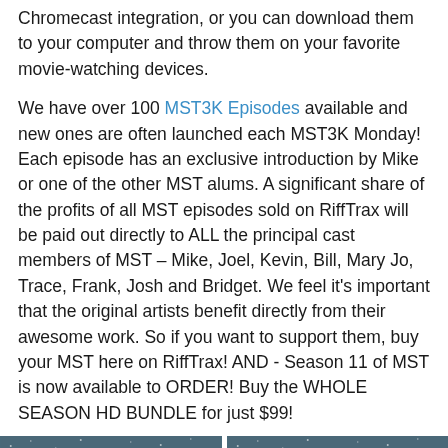Chromecast integration, or you can download them to your computer and throw them on your favorite movie-watching devices.
We have over 100 MST3K Episodes available and new ones are often launched each MST3K Monday! Each episode has an exclusive introduction by Mike or one of the other MST alums. A significant share of the profits of all MST episodes sold on RiffTrax will be paid out directly to ALL the principal cast members of MST – Mike, Joel, Kevin, Bill, Mary Jo, Trace, Frank, Josh and Bridget. We feel it's important that the original artists benefit directly from their awesome work. So if you want to support them, buy your MST here on RiffTrax! AND - Season 11 of MST is now available to ORDER! Buy the WHOLE SEASON HD BUNDLE for just $99!
[Figure (photo): Two Mystery Science Theater 3000 moon logo images side by side on a dark starry blue-grey background]